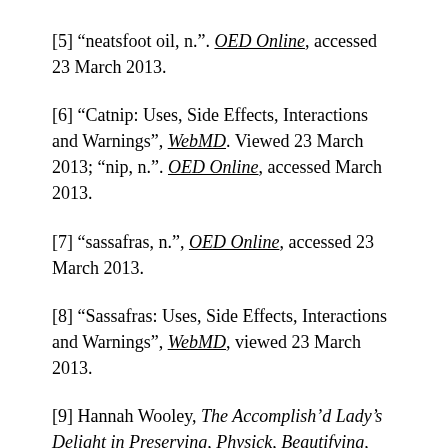[5] “neatsfoot oil, n.”. OED Online, accessed 23 March 2013.
[6] “Catnip: Uses, Side Effects, Interactions and Warnings”, WebMD. Viewed 23 March 2013; “nip, n.”. OED Online, accessed March 2013.
[7] “sassafras, n.”, OED Online, accessed 23 March 2013.
[8] “Sassafras: Uses, Side Effects, Interactions and Warnings”, WebMD, viewed 23 March 2013.
[9] Hannah Wooley, The Accomplish’d Lady’s Delight in Preserving, Physick, Beautifying, and Cookery (1675), section 57.
Glennda Bayron is an undergraduate student at the University of Texas, Arlington. She was involved in a